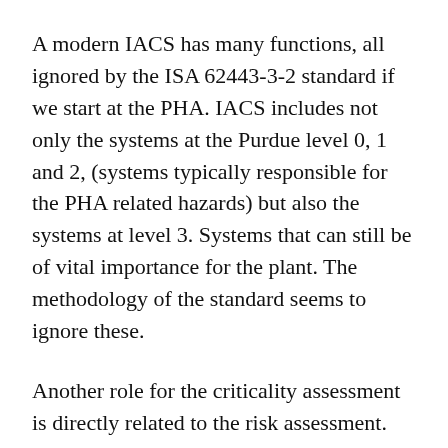A modern IACS has many functions, all ignored by the ISA 62443-3-2 standard if we start at the PHA. IACS includes not only the systems at the Purdue level 0, 1 and 2, (systems typically responsible for the PHA related hazards) but also the systems at level 3. Systems that can still be of vital importance for the plant. The methodology of the standard seems to ignore these.
Another role for the criticality assessment is directly related to the risk assessment. An important question in a large environment is do we assess risk per sub-system or for the whole system. Doing it for the whole system